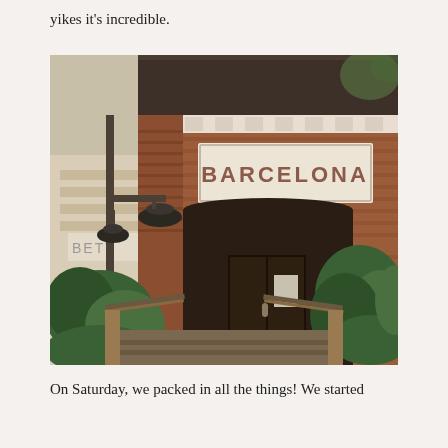yikes it's incredible.
[Figure (photo): Exterior photo of Barcelona restaurant. A brick building facade with a large sign reading 'BARCELONA' in bold letters mounted above the entrance. Industrial-style pendant lamps hang from a metal pole on the left. Green plants and ferns flank a wooden ramp leading to dark double doors. A partial sign reading 'BETT' is visible to the left side.]
On Saturday, we packed in all the things! We started